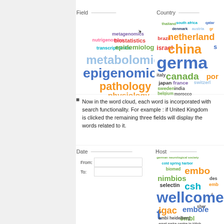[Figure (infographic): Word cloud showing research fields: epigenomics (large blue), metabolomics (large teal), pathology (large orange), physiology (orange), epidemiology (green), biostatistics (red), metagenomics (purple), transcriptomics (teal), nutrigenomics (pink)]
[Figure (infographic): Word cloud showing countries: germany (very large blue), china (large orange), netherlands (large orange), canada (green), israel (red), brazil (red), italy (dark), japan (dark), france (purple), sweden (green), india (dark), switzerland, belgium, morocco, thailand, south africa, qatar, denmark, austria]
Now in the word cloud, each word is incorporated with search functionality. For example : if United Kingdom is clicked the remaining three fields will display the words related to it.
[Figure (screenshot): Date filter panel with From and To input fields]
[Figure (infographic): Host word cloud showing: wellcome tr (very large blue), embo (large orange), nimbios (green), csh (teal), selectin (dark), biomed (green), cold spring harbor (teal), german neurological society (small green), igac (orange), embl (green), embi heidelberg, ernst roska centre in julich, des, embo/e]